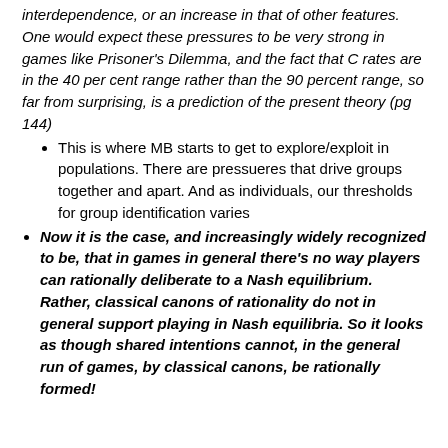interdependence, or an increase in that of other features. One would expect these pressures to be very strong in games like Prisoner's Dilemma, and the fact that C rates are in the 40 per cent range rather than the 90 percent range, so far from surprising, is a prediction of the present theory (pg 144)
This is where MB starts to get to explore/exploit in populations. There are pressueres that drive groups together and apart. And as individuals, our thresholds for group identification varies
Now it is the case, and increasingly widely recognized to be, that in games in general there’s no way players can rationally deliberate to a Nash equilibrium. Rather, classical canons of rationality do not in general support playing in Nash equilibria. So it looks as though shared intentions cannot, in the general run of games, by classical canons, be rationally formed!